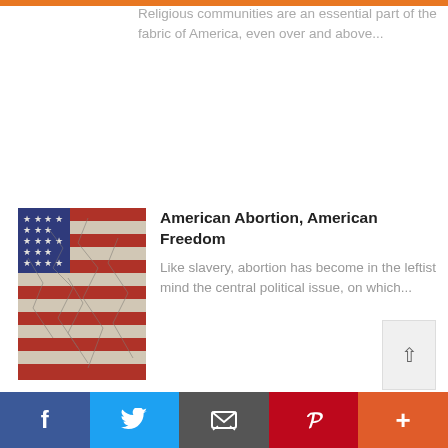Religious communities are an essential part of the fabric of America, even over and above...
American Abortion, American Freedom
Like slavery, abortion has become in the leftist mind the central political issue, on which...
We use cookies on our website to give you the most relevant experience by remembering your preferences and repeat visits. By clicking “Accept All”, you consent to the use of ALL the cookies. However, you may visit "Cookie Settings" to provide a controlled consent.
Facebook Twitter Email Pinterest More